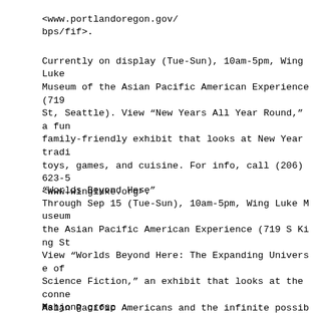<www.portlandoregon.gov/
bps/fif>.
Currently on display (Tue-Sun), 10am-5pm, Wing Luke Museum of the Asian Pacific American Experience (719 St, Seattle). View “New Years All Year Round,” a fun family-friendly exhibit that looks at New Year tradi toys, games, and cuisine. For info, call (206) 623-5 <www.wingluke.org>.
“Worlds Beyond Here”
Through Sep 15 (Tue-Sun), 10am-5pm, Wing Luke Museum the Asian Pacific American Experience (719 S King St View “Worlds Beyond Here: The Expanding Universe of Science Fiction,” an exhibit that looks at the conne Asian Pacific Americans and the infinite possibiliti fiction. The display features pieces such as an Augm sculpture garden, a Connection Machine (early superc from the Living Computers Museum, a local 14-year-ol cosplayer who creates robots out of cardboard, a mix and pop culture works, and more. For info, call (206 visit <www.wingluke.org>.
Mahjong group
Feb 19 & 26, 1-4pm, Gresham Library (385 NW Miller A Gresham, Ore.). Players of all skill levels are invi mahjong group. A coach is available to teach new pla info, call (503) 988-5123 or visit <multcolib.org>.